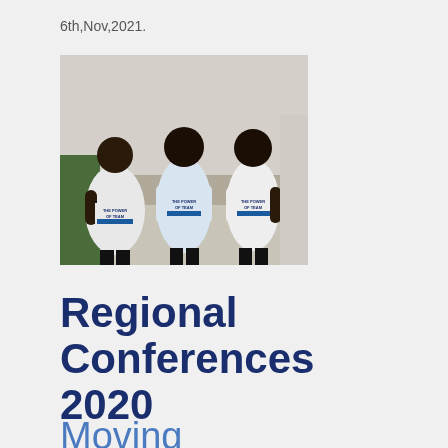6th,Nov,2021.
[Figure (photo): Three men standing with their backs to the camera, wearing matching white t-shirts with 'THE POWER OF TEAM' text on the back, outdoors near a building.]
Regional Conferences 2020
Moving